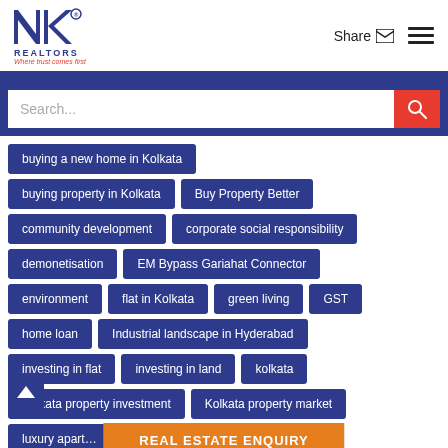[Figure (logo): NK Realtors logo with tagline 'Where trust comes first']
Share
buying a new home in Kolkata
buying property in Kolkata
Buy Property Better
community development
corporate social responsibility
demonetisation
EM Bypass Gariahat Connector
environment
flat in Kolkata
green living
GST
home loan
Industrial landscape in Hyderabad
investing in flat
investing in land
kolkata
Kolkata property investment
Kolkata property market
luxury apart...
REAL ESTATE ENQUIRY